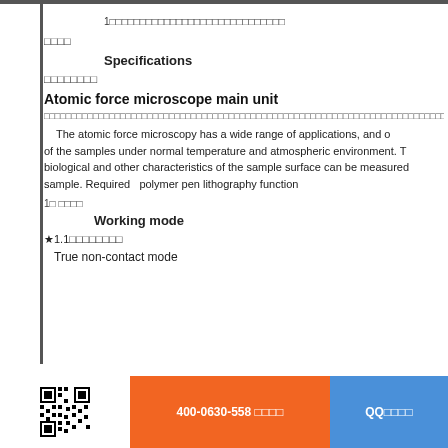1□□□□□□□□□□□□□□□□□□□□□□□□□
□□□□
Specifications
□□□□□□□□
Atomic force microscope main unit
□□□□□□□□□□□□□□□□□□□□□□□□□□□□□□□□□□□□□□□□□□□□□□□□□□□□□□□□□□□□□□□□□□□□□□□□□□□□□□□□□□□□□□□□□□□□□□□□□□□□□□
The atomic force microscopy has a wide range of applications, and of the samples under normal temperature and atmospheric environment. The biological and other characteristics of the sample surface can be measured sample. Required   polymer pen lithography function
1□ □□□□
Working mode
★1.1□□□□□□□□
True non-contact mode
400-0630-558 □□□□    QQ□□□□